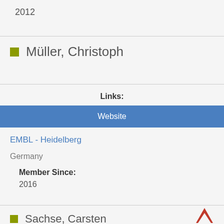2012
Müller, Christoph
Links:
Website
EMBL - Heidelberg
Germany
Member Since:
2016
Sachse, Carsten